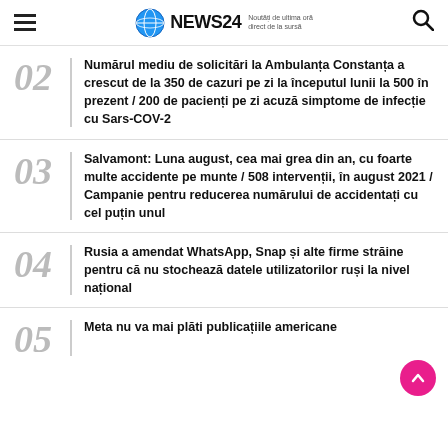NEWS24 Noutăți de ultima oră direct de la sursă
02 Numărul mediu de solicitări la Ambulanța Constanța a crescut de la 350 de cazuri pe zi la începutul lunii la 500 în prezent / 200 de pacienți pe zi acuză simptome de infecție cu Sars-COV-2
03 Salvamont: Luna august, cea mai grea din an, cu foarte multe accidente pe munte / 508 intervenții, în august 2021 / Campanie pentru reducerea numărului de accidentați cu cel puțin unul
04 Rusia a amendat WhatsApp, Snap și alte firme străine pentru că nu stochează datele utilizatorilor ruși la nivel național
05 Meta nu va mai plăti publicațiile americane